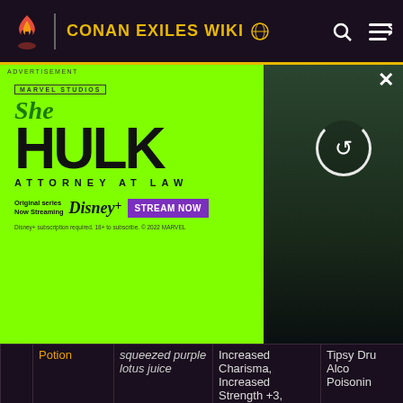CONAN EXILES WIKI
[Figure (screenshot): She-Hulk Attorney at Law advertisement banner on Disney+, featuring the show logo and an image of the actress, with a STREAM NOW button and Disney+ branding.]
| Icon | Name | Description | Effect | Notes |
| --- | --- | --- | --- | --- |
|  | Potion | squeezed purple lotus juice | Increased Charisma, Increased Strength +3, Increased Vitality +3 (on 3rd potion) | Tipsy Dru Alco Poisonir |
|  | Reaper Poison | A poison that can be applied to daggers | Applies 10 stacks of poison to weapons and tools | Can't be applied bows ar certain weapon |